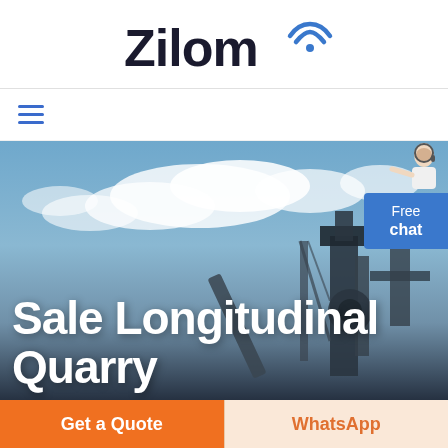[Figure (logo): Zilom logo with WiFi signal icon above the letter 'm']
[Figure (screenshot): Hamburger menu icon (three horizontal blue lines)]
[Figure (photo): Industrial quarry/mining equipment against a cloudy blue sky background, with large white text overlay reading 'Sale Longitudinal Quarry'. A customer service agent figure and 'Free chat' button appear in the top right corner.]
Sale Longitudinal Quarry
[Figure (infographic): Two CTA buttons at the bottom: orange 'Get a Quote' button on the left and light peach 'WhatsApp' button on the right]